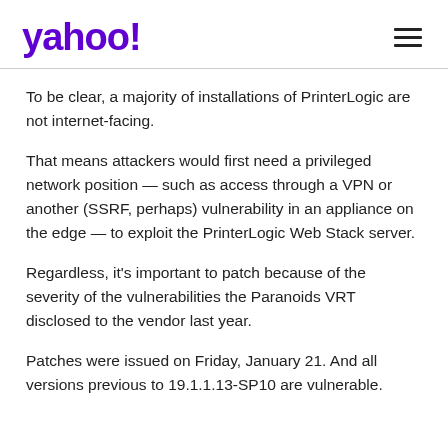yahoo!
To be clear, a majority of installations of PrinterLogic are not internet-facing.
That means attackers would first need a privileged network position — such as access through a VPN or another (SSRF, perhaps) vulnerability in an appliance on the edge — to exploit the PrinterLogic Web Stack server.
Regardless, it's important to patch because of the severity of the vulnerabilities the Paranoids VRT disclosed to the vendor last year.
Patches were issued on Friday, January 21. And all versions previous to 19.1.1.13-SP10 are vulnerable.